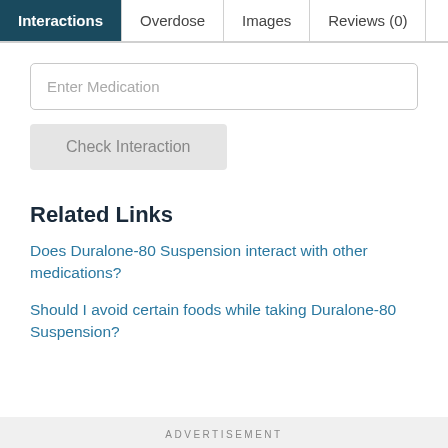Interactions | Overdose | Images | Reviews (0)
Enter Medication
Check Interaction
Related Links
Does Duralone-80 Suspension interact with other medications?
Should I avoid certain foods while taking Duralone-80 Suspension?
ADVERTISEMENT